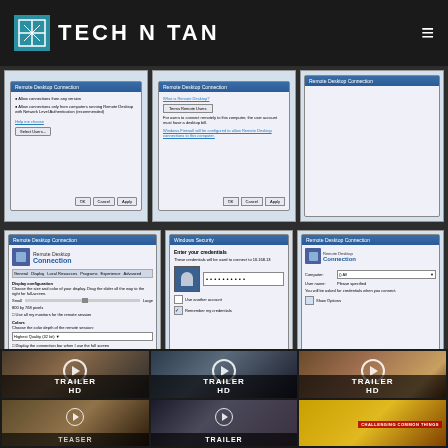TECH N TAN
[Figure (screenshot): Three Windows Remote Desktop Connection dialog screenshots in top row]
[Figure (screenshot): Three Windows Remote Desktop Connection dialog screenshots in middle row including Windows Security credential prompt]
[Figure (screenshot): Six movie trailer video thumbnail cards with TRAILER HD and TEASER labels and play buttons]